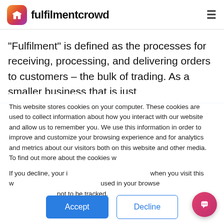fulfilmentcrowd
“Fulfilment” is defined as the processes for receiving, processing, and delivering orders to customers – the bulk of trading. As a smaller business that is just
[Figure (screenshot): Cookie consent popup overlay with text about website cookies, two buttons (Accept and Decline), a chat widget popup saying 'Hi, I'm here to help', and a chat FAB button in the bottom right.]